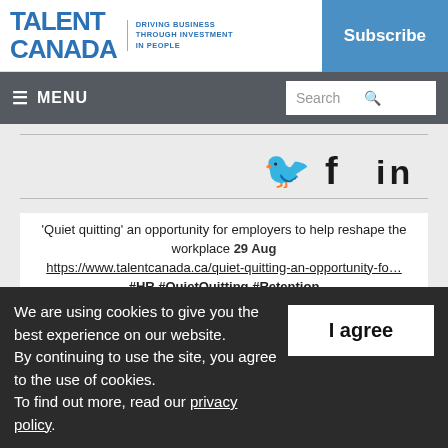TALENT CANADA — DRIVING BUSINESS THROUGH INVESTMENT IN PEOPLE | Subscribe
≡ MENU | Search
[Figure (other): Social media share icons: Twitter bird, Facebook f, LinkedIn in]
'Quiet quitting' an opportunity for employers to help reshape the workplace https://www.talentcanada.ca/quiet-quitting-an-opportunity-fo… #HR #QuietQuitting #Retention 29 Aug
We are using cookies to give you the best experience on our website. By continuing to use the site, you agree to the use of cookies. To find out more, read our privacy policy.